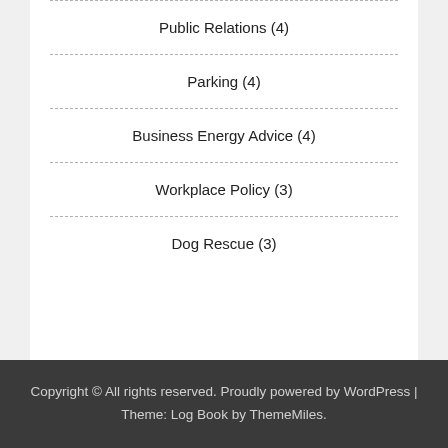Public Relations (4)
Parking (4)
Business Energy Advice (4)
Workplace Policy (3)
Dog Rescue (3)
Copyright © All rights reserved. Proudly powered by WordPress | Theme: Log Book by ThemeMiles.